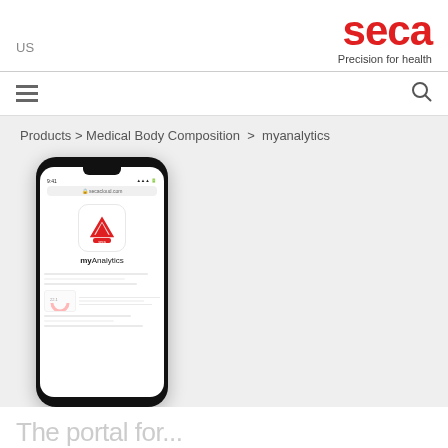US
[Figure (logo): seca logo with text 'Precision for health']
Products > Medical Body Composition > myanalytics
[Figure (screenshot): Smartphone displaying the seca myAnalytics app screen with app icon showing a red triangle/chevron on white background, app name 'myAnalytics' with 'my' in bold, and dashboard content below]
The portal for...